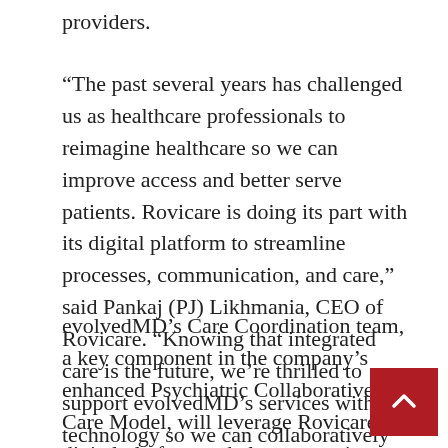providers.
“The past several years has challenged us as healthcare professionals to reimagine healthcare so we can improve access and better serve patients. Rovicare is doing its part with its digital platform to streamline processes, communication, and care,” said Pankaj (PJ) Likhmania, CEO of Rovicare. “Knowing that integrated care is the future, we’re thrilled to support evolvedMD’s services with our technology so we can collaboratively reimagine the healthcare experience for all.”
evolvedMD’s Care Coordination team, a key component in the company’s enhanced Psychiatric Collaborative Care Model, will leverage Rovicare’s digital platform to help manage its patients’ journeys through the care continuum. The software